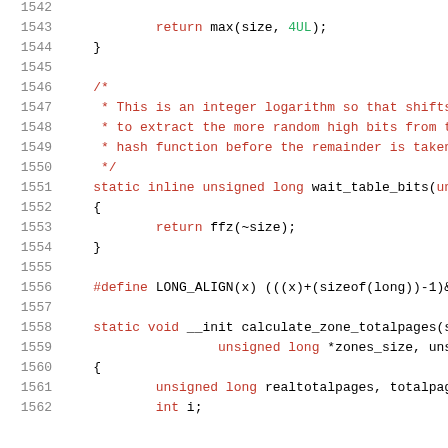Source code listing lines 1542-1562 showing C kernel code with wait_table_bits, LONG_ALIGN, and calculate_zone_totalpages functions